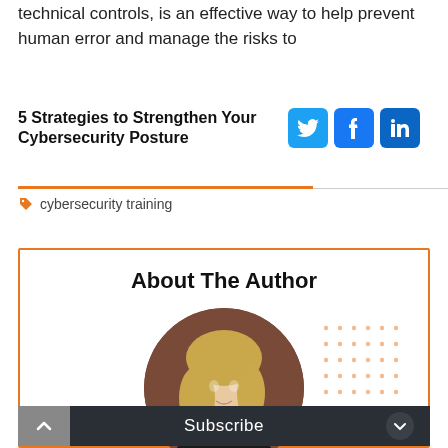technical controls, is an effective way to help prevent human error and manage the risks to
5 Strategies to Strengthen Your Cybersecurity Posture
cybersecurity training
About The Author
[Figure (photo): Circular portrait photo of a blonde woman in a black top]
[Figure (illustration): Decorative orange dot grid pattern]
Subscribe